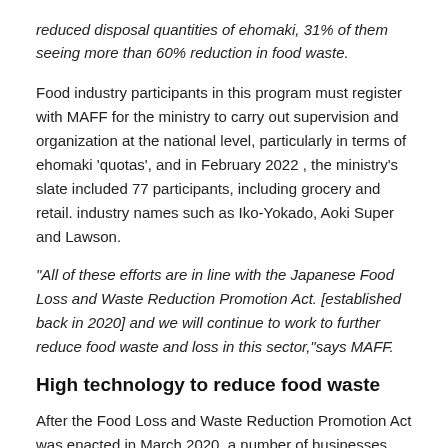reduced disposal quantities of ehomaki, 31% of them seeing more than 60% reduction in food waste.
Food industry participants in this program must register with MAFF for the ministry to carry out supervision and organization at the national level, particularly in terms of ehomaki ‘quotas’, and in February 2022 , the ministry’s slate included 77 participants, including grocery and retail. industry names such as Iko-Yokado, Aoki Super and Lawson.
“All of these efforts are in line with the Japanese Food Loss and Waste Reduction Promotion Act. [established back in 2020] and we will continue to work to further reduce food waste and loss in this sector,” says MAFF.
High technology to reduce food waste
After the Food Loss and Waste Reduction Promotion Act was enacted in March 2020, a number of businesses started to